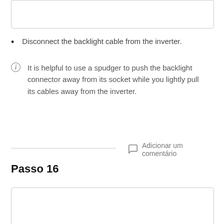[Figure (other): Top image placeholder box (partial image, white/empty)]
Disconnect the backlight cable from the inverter.
It is helpful to use a spudger to push the backlight connector away from its socket while you lightly pull its cables away from the inverter.
Adicionar um comentário
Passo 16
[Figure (other): Bottom image placeholder box (partial image, white/empty)]